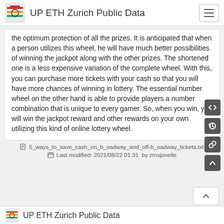UP ETH Zurich Public Data
the optimum protection of all the prizes. It is anticipated that when a person utilizes this wheel, he will have much better possibilities of winning the jackpot along with the other prizes. The shortened one is a less expensive variation of the complete wheel. With this, you can purchase more tickets with your cash so that you will have more chances of winning in lottery. The essential number wheel on the other hand is able to provide players a number combination that is unique to every gamer. So, when you win, you will win the jackpot reward and other rewards on your own utilizing this kind of online lottery wheel.
5_ways_to_save_cash_on_b_oadway_and_off-b_oadway_tickets.txt
Last modified: 2021/08/22 01:31  by zmxjonelle
UP ETH Zurich Public Data